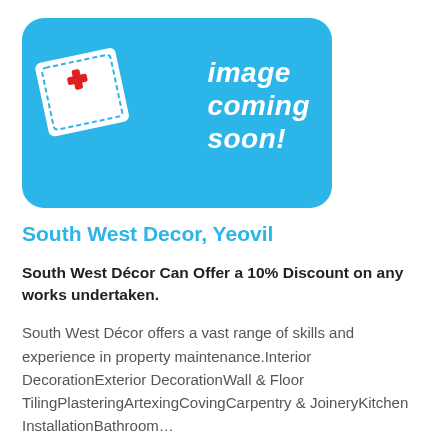[Figure (illustration): Image coming soon placeholder graphic: blue rounded rectangle with a white envelope containing a red cross, and bold italic white text reading 'image coming soon!']
South West Decor, Yeovil
South West Décor Can Offer a 10% Discount on any works undertaken.
South West Décor offers a vast range of skills and experience in property maintenance.Interior DecorationExterior DecorationWall & Floor TilingPlasteringArtexingCovingCarpentry & JoineryKitchen InstallationBathroom…